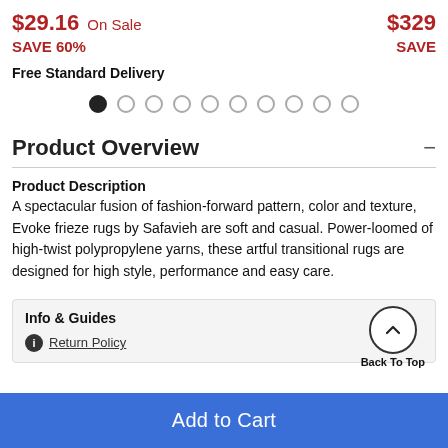$29.16 On Sale   $329 (truncated)
SAVE 60%   SAVE (truncated)
Free Standard Delivery
[Figure (other): Pagination dots: 10 dots, first one filled/active]
Product Overview
Product Description
A spectacular fusion of fashion-forward pattern, color and texture, Evoke frieze rugs by Safavieh are soft and casual. Power-loomed of high-twist polypropylene yarns, these artful transitional rugs are designed for high style, performance and easy care.
Info & Guides
Return Policy
Back To Top
Add to Cart